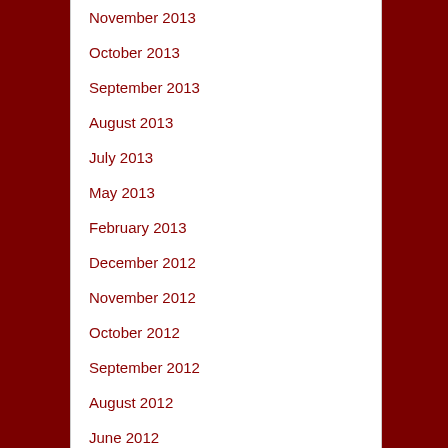November 2013
October 2013
September 2013
August 2013
July 2013
May 2013
February 2013
December 2012
November 2012
October 2012
September 2012
August 2012
June 2012
May 2012
October 2011